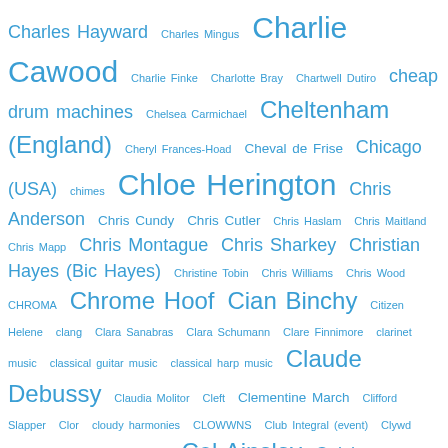Charles Hayward Charles Mingus Charlie Cawood Charlie Finke Charlotte Bray Chartwell Dutiro cheap drum machines Chelsea Carmichael Cheltenham (England) Cheryl Frances-Hoad Cheval de Frise Chicago (USA) chimes Chloe Herington Chris Anderson Chris Cundy Chris Cutler Chris Haslam Chris Maitland Chris Mapp Chris Montague Chris Sharkey Christian Hayes (Bic Hayes) Christine Tobin Chris Williams Chris Wood CHROMA Chrome Hoof Cian Binchy Citizen Helene clang Clara Sanabras Clara Schumann Clare Finnimore clarinet music classical guitar music classical harp music Claude Debussy Claudia Molitor Cleft Clementine March Clifford Slapper Clor cloudy harmonies CLOWWNS Club Integral (event) Clywd (Wales) Cocteau Twins Coil Col Ainsley Colchester (England) Cold Blue Music Coldnose Colin Alexander Colin Edwin Colin Webster Colorado Chamber Orchestra communiques Conor Chaplin contrabassoon Conway Hall (promoter/venue) Coombe Bissett (England) Corey Mwamba Corinne Morris Cork (Ireland) Cos Chapman Cosmo Sheldrake Coventry (England) Craig Fortnam Craig Scott Crawford Blair Crayola Lectern creative misanthropy creeping horror